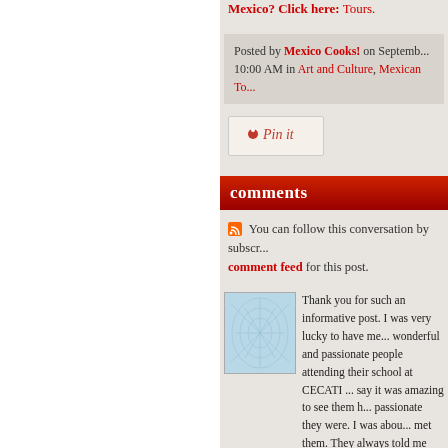Mexico? Click here: Tours.
Posted by Mexico Cooks! on September ... 10:00 AM in Art and Culture, Mexican To...
[Figure (other): Pin it button]
comments
You can follow this conversation by subscribing to the comment feed for this post.
[Figure (photo): Avatar image with abstract blue web/network pattern on light blue background]
Thank you for such an informative post. I was very lucky to have met wonderful and passionate people attending their school at CECATI ... say it was amazing to see them h... passionate they were. I was abou... met them. They always told me to... with discipline and vision. It was t... my own town (Santa Clara del Co... closed-minded and refused to rec... numerous contributions that Jaim... given to the community. I know fo... have seen it, that the CECATI #1... disgrace compared to when Jaim... charge. Santa Clara would not be... wasn't for them. I hope to see m...